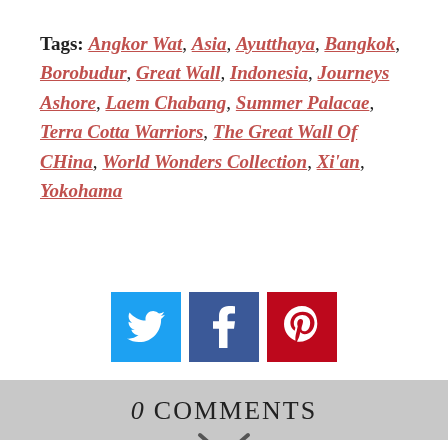Tags: Angkor Wat, Asia, Ayutthaya, Bangkok, Borobudur, Great Wall, Indonesia, Journeys Ashore, Laem Chabang, Summer Palacae, Terra Cotta Warriors, The Great Wall Of CHina, World Wonders Collection, Xi'an, Yokohama
[Figure (infographic): Three social media share buttons: Twitter (blue), Facebook (dark blue), Pinterest (red)]
0 COMMENTS